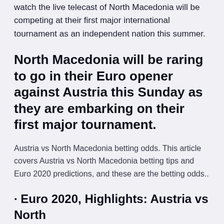watch the live telecast of North Macedonia will be competing at their first major international tournament as an independent nation this summer.
North Macedonia will be raring to go in their Euro opener against Austria this Sunday as they are embarking on their first major tournament.
Austria vs North Macedonia betting odds. This article covers Austria vs North Macedonia betting tips and Euro 2020 predictions, and these are the betting odds..
· Euro 2020, Highlights: Austria vs North